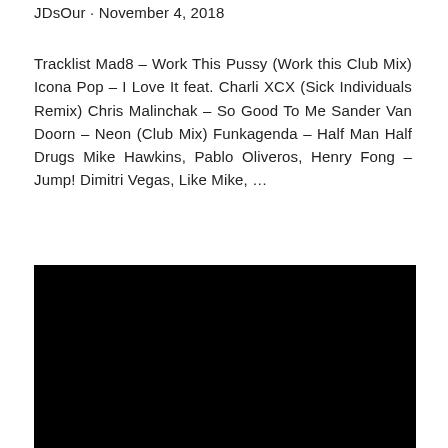JDsOur · November 4, 2018
Tracklist Mad8 – Work This Pussy (Work this Club Mix) Icona Pop – I Love It feat. Charli XCX (Sick Individuals Remix) Chris Malinchak – So Good To Me Sander Van Doorn – Neon (Club Mix) Funkagenda – Half Man Half Drugs Mike Hawkins, Pablo Oliveros, Henry Fong – Jump! Dimitri Vegas, Like Mike, …
[Figure (other): Black rectangle representing an embedded video player]